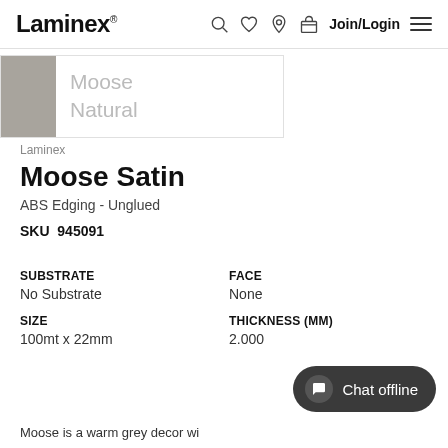Laminex — navigation header with search, wishlist, location, basket, Join/Login, and menu icons
[Figure (other): Dropdown showing product colour swatch (warm grey) with labels 'Moose' and 'Natural']
Laminex
Moose Satin
ABS Edging - Unglued
SKU  945091
SUBSTRATE
No Substrate
FACE
None
SIZE
100mt x 22mm
THICKNESS (MM)
2.000
Moose is a warm grey decor wi...